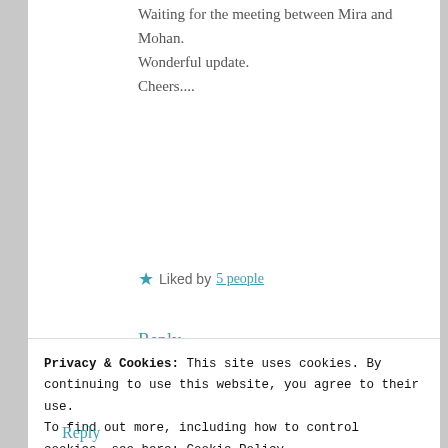Waiting for the meeting between Mira and Mohan.
Wonderful update.
Cheers....
Liked by 5 people
Reply
anal126
FEBRUARY 23, 2020 AT 9:46 PM
Privacy & Cookies: This site uses cookies. By continuing to use this website, you agree to their use.
To find out more, including how to control cookies, see here: Cookie Policy
Close and accept
Reply